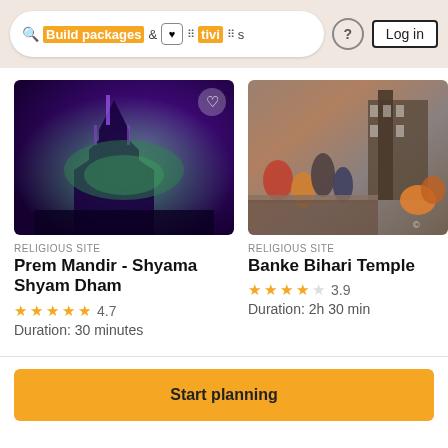Build packages & Activities ? Log in
[Figure (photo): Prem Mandir - Shyama Shyam Dham illuminated temple at night with purple and green lights]
RELIGIOUS SITE
Prem Mandir - Shyama Shyam Dham
4.7
Duration: 30 minutes
[Figure (photo): Banke Bihari Temple with crowds of people outside]
RELIGIOUS SITE
Banke Bihari Temple
3.9
Duration: 2h 30 min
Start planning